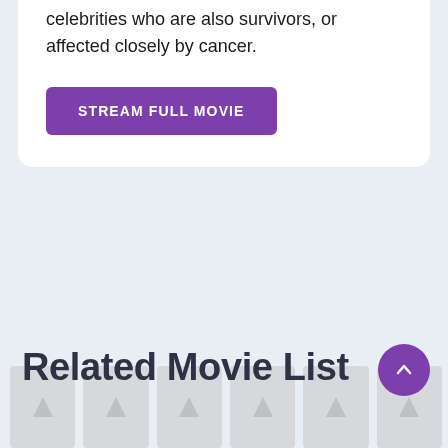celebrities who are also survivors, or affected closely by cancer.
[Figure (other): Purple 'STREAM FULL MOVIE' button]
Related Movie List
[Figure (other): Row of movie thumbnail placeholder images at the bottom of the page]
[Figure (other): Purple circular back-to-top arrow button in bottom right corner]